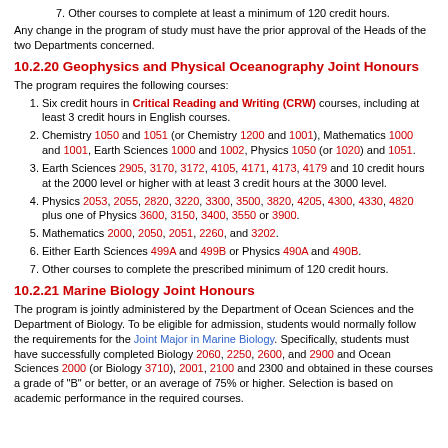7. Other courses to complete at least a minimum of 120 credit hours.
Any change in the program of study must have the prior approval of the Heads of the two Departments concerned.
10.2.20 Geophysics and Physical Oceanography Joint Honours
The program requires the following courses:
1. Six credit hours in Critical Reading and Writing (CRW) courses, including at least 3 credit hours in English courses.
2. Chemistry 1050 and 1051 (or Chemistry 1200 and 1001), Mathematics 1000 and 1001, Earth Sciences 1000 and 1002, Physics 1050 (or 1020) and 1051.
3. Earth Sciences 2905, 3170, 3172, 4105, 4171, 4173, 4179 and 10 credit hours at the 2000 level or higher with at least 3 credit hours at the 3000 level.
4. Physics 2053, 2055, 2820, 3220, 3300, 3500, 3820, 4205, 4300, 4330, 4820 plus one of Physics 3600, 3150, 3400, 3550 or 3900.
5. Mathematics 2000, 2050, 2051, 2260, and 3202.
6. Either Earth Sciences 499A and 499B or Physics 490A and 490B.
7. Other courses to complete the prescribed minimum of 120 credit hours.
10.2.21 Marine Biology Joint Honours
The program is jointly administered by the Department of Ocean Sciences and the Department of Biology. To be eligible for admission, students would normally follow the requirements for the Joint Major in Marine Biology. Specifically, students must have successfully completed Biology 2060, 2250, 2600, and 2900 and Ocean Sciences 2000 (or Biology 3710), 2001, 2100 and 2300 and obtained in these courses a grade of "B" or better, or an average of 75% or higher. Selection is based on academic performance in the required courses.